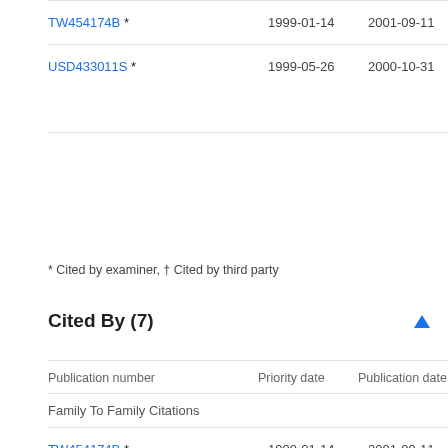| Publication number | Priority date | Publication date | Ass |
| --- | --- | --- | --- |
| TW454174B * | 1999-01-14 | 2001-09-11 | Ves |
| USD433011S * | 1999-05-26 | 2000-10-31 | Nu
Ind
Llc |
* Cited by examiner, † Cited by third party
Cited By (7)
| Publication number | Priority date | Publication date | Ass |
| --- | --- | --- | --- |
| Family To Family Citations |  |  |  |
| TW454174B * | 1999-01-14 | 2001-09-11 | Ves |
| CA2327986A1 * | 1999-12-16 | 2001-06-16 | Jor
Cas |